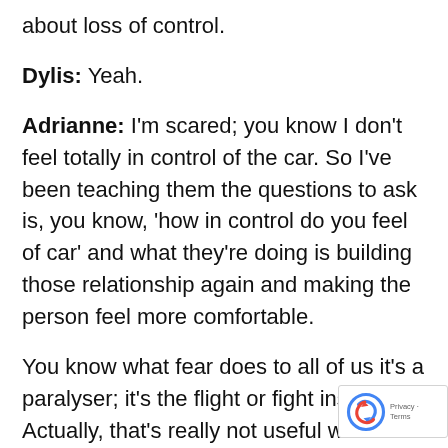about loss of control.
Dylis: Yeah.
Adrianne: I'm scared; you know I don't feel totally in control of the car. So I've been teaching them the questions to ask is, you know, 'how in control do you feel of car' and what they're doing is building those relationship again and making the person feel more comfortable.
You know what fear does to all of us it's a paralyser; it's the flight or fight instinct. Actually, that's really not useful when you're learning to drive. So, it's helping people to respond appropriately to what they see and move to people that they need to get through